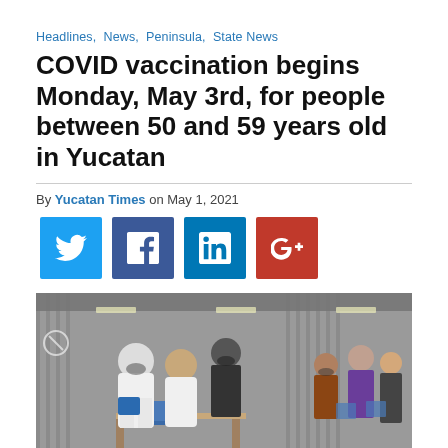Headlines,  News,  Peninsula,  State News
COVID vaccination begins Monday, May 3rd, for people between 50 and 59 years old in Yucatan
By Yucatan Times on May 1, 2021
[Figure (infographic): Social sharing buttons: Twitter (blue), Facebook (dark blue), LinkedIn (blue), Google+ (red)]
[Figure (photo): Indoor COVID vaccination site with medical staff in white coats and people in masks waiting in line]